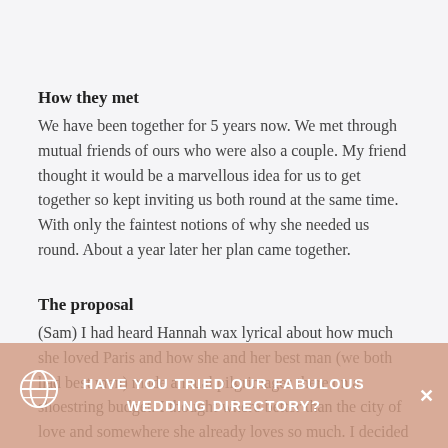How they met
We have been together for 5 years now. We met through mutual friends of ours who were also a couple. My friend thought it would be a marvellous idea for us to get together so kept inviting us both round at the same time. With only the faintest notions of why she needed us round. About a year later her plan came together.
The proposal
(Sam) I had heard Hannah wax lyrical about how much she loved Paris and how she and her best man (we both had best men) made annual pilgrimages there on a shoestring budget. I thought where better than the city of love and somewhere she already loves so much. I decided to propose on the Eiffel Tower. The first night I had the ring box down my sock all evening. After we had dinner but the tower was closed (ouch). The
HAVE YOU TRIED OUR FABULOUS WEDDING DIRECTORY?